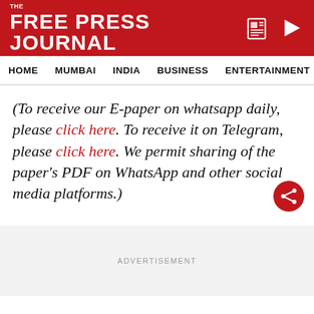THE FREE PRESS JOURNAL
HOME  MUMBAI  INDIA  BUSINESS  ENTERTAINMENT  SPO
(To receive our E-paper on whatsapp daily, please click here. To receive it on Telegram, please click here. We permit sharing of the paper’s PDF on WhatsApp and other social media platforms.)
ADVERTISEMENT
ADVERTISEMENT